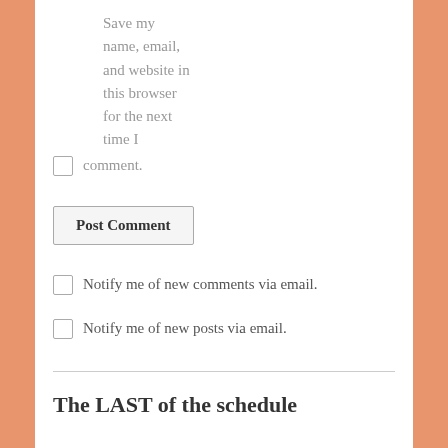Save my name, email, and website in this browser for the next time I comment.
Post Comment
Notify me of new comments via email.
Notify me of new posts via email.
The LAST of the schedule